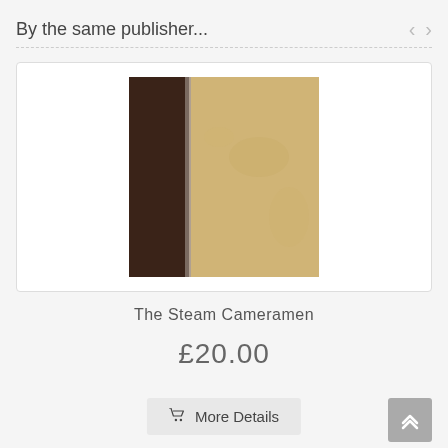By the same publisher...
[Figure (photo): Book cover of 'The Steam Cameramen' — a hardcover book with dark brown spine and beige/kraft paper textured front cover.]
The Steam Cameramen
£20.00
More Details